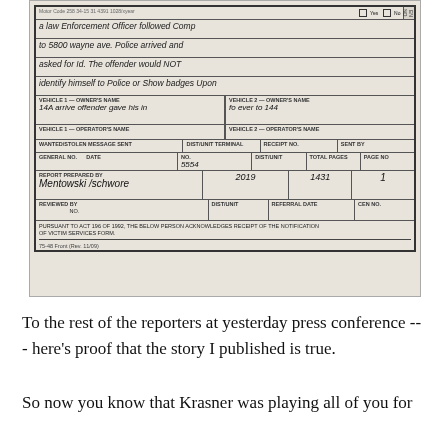[Figure (photo): A scanned police report form (form 75-48 Front Rev 11/09) partially filled out with handwritten text. The narrative section reads: 'a law Enforcement Officer followed Comp to 5800 wayne ave. Police arrived and asked for Id. The offender would NOT identify himself to Police or Show badges Upon' with split vehicle owner/operator name fields and entry '14A arrive offender gave his info ever to 144'. Lower section shows fields for REPORT PREPARED BY with signature 'Mentowski/schwere', NO.5554, DIST/UNIT 2019, TOTAL PAGES 1431, PAGE NO 1. Footer states 'PURSUANT TO ACT 196 OF 1992, THE BELOW PERSON ACKNOWLEDGES RECEIPT OF THE NOTIFICATION OF VICTIM SERVICES FORM.']
To the rest of the reporters at yesterday press conference --- here's proof that the story I published is true.
So now you know that Krasner was playing all of you for